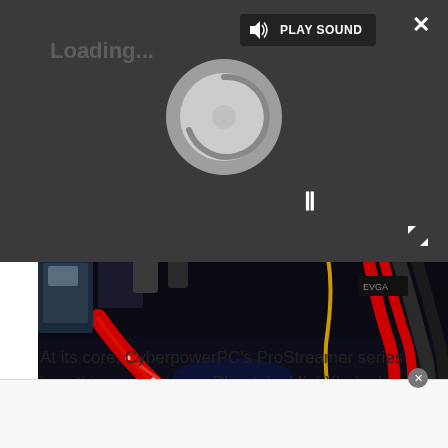[Figure (screenshot): Dark video player overlay with 'PLAY SOUND' button, speaker icon, loading spinner, pause button (II), close X button, and expand arrows icon]
[Figure (photo): Close-up photo of PC internals showing red illuminated water cooling tubes, cables, and hardware components against a dark background]
At its core, CyberpowerPC’s ProStreamer series is nothing more than a Phanteks Mini XL dual-system